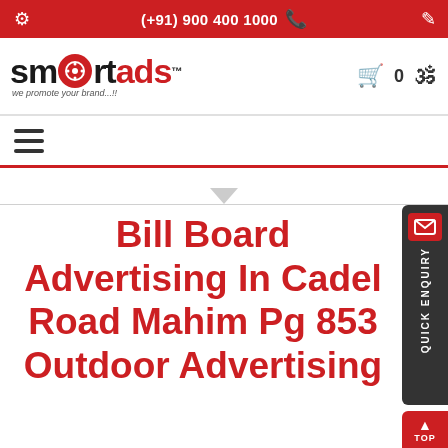(+91) 900 400 1000
[Figure (logo): SmartAds logo with film reel icon and tagline 'we promote your brand...!!']
☰ (hamburger menu icon)
Bill Board Advertising In Cadel Road Mahim Pg 853 Outdoor Advertising